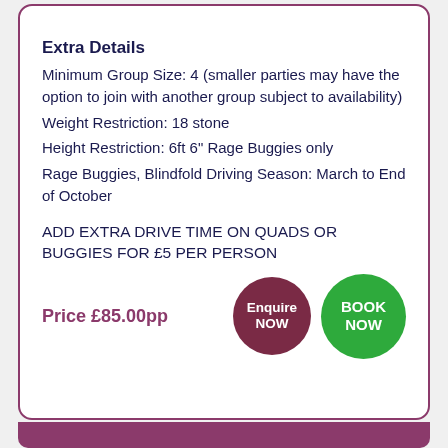Extra Details
Minimum Group Size: 4 (smaller parties may have the option to join with another group subject to availability)
Weight Restriction: 18 stone
Height Restriction: 6ft 6" Rage Buggies only
Rage Buggies, Blindfold Driving Season: March to End of October
ADD EXTRA DRIVE TIME ON QUADS OR BUGGIES FOR £5 PER PERSON
Price £85.00pp